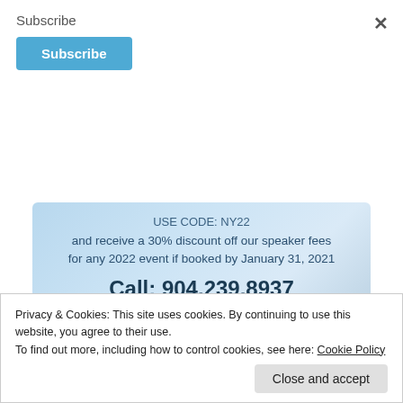Subscribe
Subscribe
×
[Figure (infographic): Light blue promotional box with text: USE CODE: NY22 and receive a 30% discount off our speaker fees for any 2022 event if booked by January 31, 2021. Call: 904.239.8937 for more information]
We're offering 30% off our speaker fees as our gift to
Privacy & Cookies: This site uses cookies. By continuing to use this website, you agree to their use. To find out more, including how to control cookies, see here: Cookie Policy
Close and accept